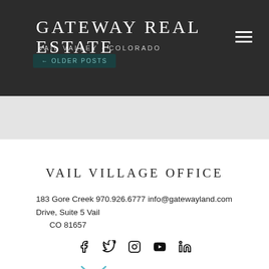Gateway Real Estate — Vail Valley · Colorado
← OLDER POSTS
VAIL VILLAGE OFFICE
183 Gore Creek Drive, Suite 5 Vail CO 81657   970.926.6777   info@gatewayland.com
[Figure (logo): Social media icons: Facebook, Twitter, Instagram, YouTube, LinkedIn]
[Figure (logo): Leverage Global Partners logo with teal X mark and text LEVERAGE GLOBAL PARTNERS]